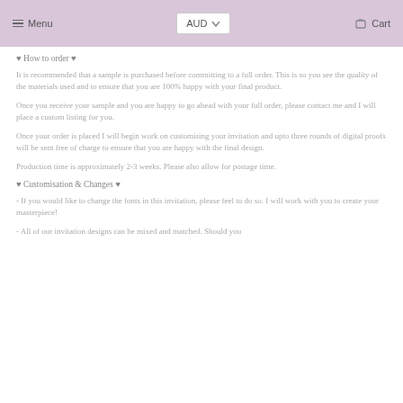Menu   AUD   Cart
♥ How to order ♥
It is recommended that a sample is purchased before committing to a full order. This is so you see the quality of the materials used and to ensure that you are 100% happy with your final product.
Once you receive your sample and you are happy to go ahead with your full order, please contact me and I will place a custom listing for you.
Once your order is placed I will begin work on customising your invitation and upto three rounds of digital proofs will be sent free of charge to ensure that you are happy with the final design.
Production time is approximately 2-3 weeks. Please also allow for postage time.
♥ Customisation & Changes ♥
- If you would like to change the fonts in this invitation, please feel to do so. I will work with you to create your masterpiece!
- All of our invitation designs can be mixed and matched. Should you